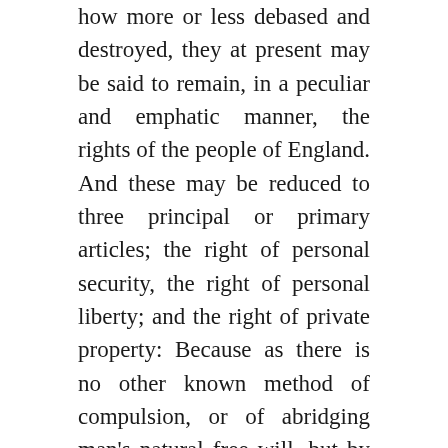how more or less debased and destroyed, they at present may be said to remain, in a peculiar and emphatic manner, the rights of the people of England. And these may be reduced to three principal or primary articles; the right of personal security, the right of personal liberty; and the right of private property: Because as there is no other known method of compulsion, or of abridging man's natural free will, but by an infringement or diminution of one or other of these important rights, the preservation of these, inviolate, may justly be said to include the preservation of our civil immunities in their largest and most extensive sense.
I. The right of personal security consists in a person's legal and uninterrupted enjoyment of his life, his limbs, his body, his health, and his